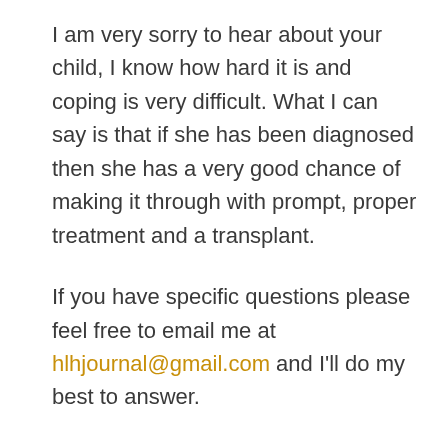I am very sorry to hear about your child, I know how hard it is and coping is very difficult. What I can say is that if she has been diagnosed then she has a very good chance of making it through with prompt, proper treatment and a transplant.
If you have specific questions please feel free to email me at hlhjournal@gmail.com and I'll do my best to answer.